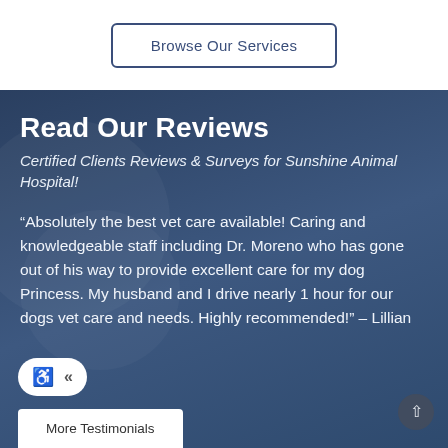Browse Our Services
Read Our Reviews
Certified Clients Reviews & Surveys for Sunshine Animal Hospital!
“Absolutely the best vet care available! Caring and knowledgeable staff including Dr. Moreno who has gone out of his way to provide excellent care for my dog Princess. My husband and I drive nearly 1 hour for our dogs vet care and needs. Highly recommended!” – Lillian
More Testimonials